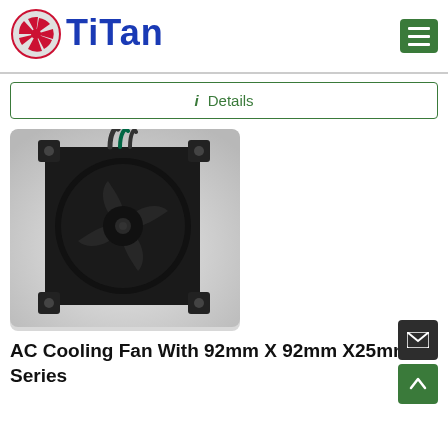[Figure (logo): Titan brand logo with red fan icon and blue TITAN text]
i  Details
[Figure (photo): AC cooling fan product photo, 92mm x 92mm x 25mm black fan with mounting frame and green wire leads, on grey gradient background]
AC Cooling Fan With 92mm X 92mm X25mm Series